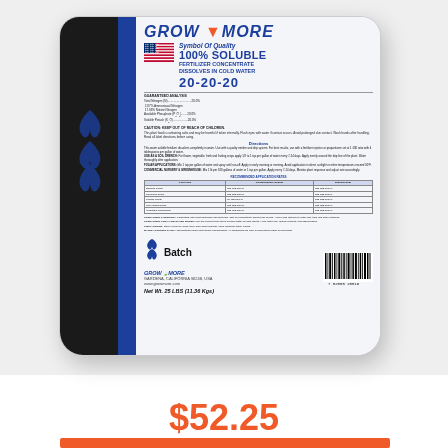[Figure (photo): A white bag of Grow More 100% Soluble Fertilizer Concentrate 20-20-20, 25 lbs product, showing front label with directions, application table, and barcode. Bag has black and blue vertical stripes on left side with blue decorative leaf logos.]
$52.25